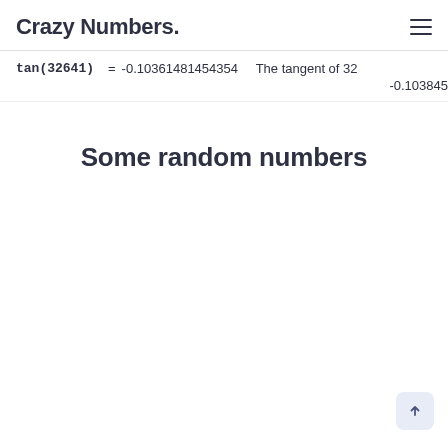Crazy Numbers.
tan(32641) = -0.10361481454354  The tangent of 32... -0.103845
Some random numbers